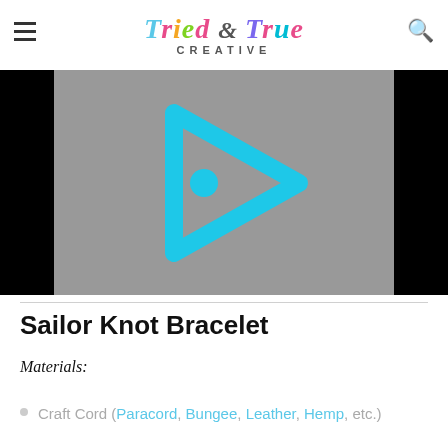Tried & True Creative
[Figure (screenshot): Video player thumbnail showing a gray background with a cyan/turquoise play button icon (rounded triangle outline with a circle inside), flanked by black bars on left and right sides.]
Sailor Knot Bracelet
Materials:
Craft Cord (Paracord, Bungee, Leather, Hemp, etc.)